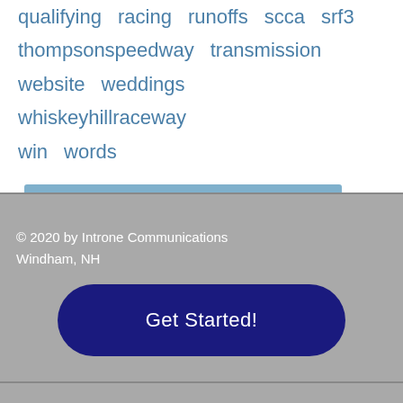qualifying  racing  runoffs  scca  srf3  thompsonspeedway  transmission  website  weddings  whiskeyhillraceway  win  words
© 2020 by Introne Communications Windham, NH
Get Started!